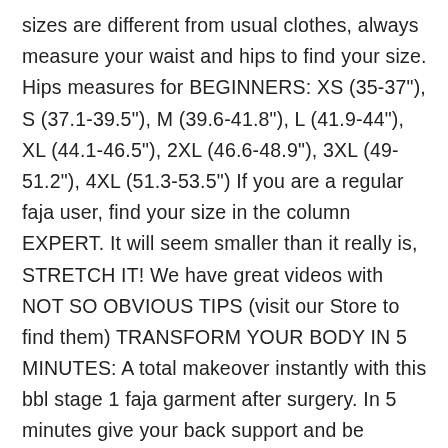sizes are different from usual clothes, always measure your waist and hips to find your size. Hips measures for BEGINNERS: XS (35-37"), S (37.1-39.5"), M (39.6-41.8"), L (41.9-44"), XL (44.1-46.5"), 2XL (46.6-48.9"), 3XL (49-51.2"), 4XL (51.3-53.5") If you are a regular faja user, find your size in the column EXPERT. It will seem smaller than it really is, STRETCH IT! We have great videos with NOT SO OBVIOUS TIPS (visit our Store to find them) TRANSFORM YOUR BODY IN 5 MINUTES: A total makeover instantly with this bbl stage 1 faja garment after surgery. In 5 minutes give your back support and be comfortable with the greatest post surgery compression shapewear garment in the market. Our Sonryse 086 body shaper is also great as: liposuction compression garments, postoperative or postpartum girdle, BBL faja